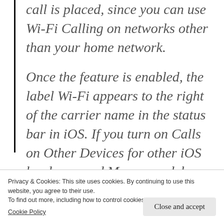call is placed, since you can use Wi-Fi Calling on networks other than your home network.

Once the feature is enabled, the label Wi-Fi appears to the right of the carrier name in the status bar in iOS. If you turn on Calls on Other Devices for other iOS hardware and Macs—models released mostly in the last five years—that use the same iCloud account, you
Privacy & Cookies: This site uses cookies. By continuing to use this website, you agree to their use.
To find out more, including how to control cookies, see here:
Cookie Policy